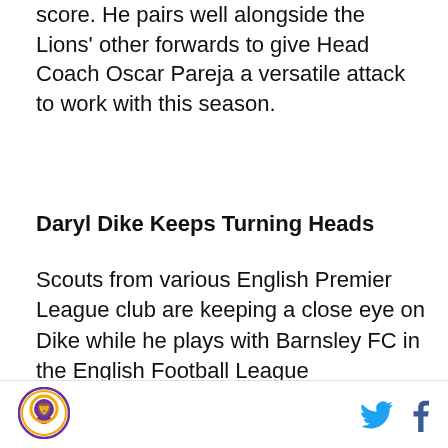score. He pairs well alongside the Lions' other forwards to give Head Coach Oscar Pareja a versatile attack to work with this season.
Daryl Dike Keeps Turning Heads
Scouts from various English Premier League club are keeping a close eye on Dike while he plays with Barnsley FC in the English Football League Championship. Manchester United, Chelsea, Everton, Leeds United, and others are reportedly all interested in the 20-year-old striker, according to TEAMtalk. A bidding war could be brewing, but Orlando City is reportedly holding firm on a $20 million price tag for Dike. With the March international
Orlando City logo, Twitter icon, Facebook icon